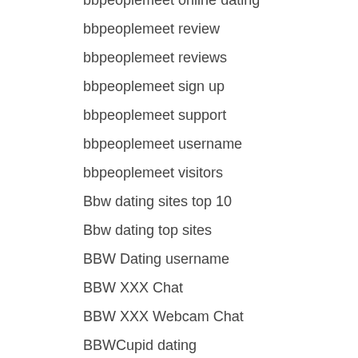bbpeoplemeet online dating
bbpeoplemeet review
bbpeoplemeet reviews
bbpeoplemeet sign up
bbpeoplemeet support
bbpeoplemeet username
bbpeoplemeet visitors
Bbw dating sites top 10
Bbw dating top sites
BBW Dating username
BBW XXX Chat
BBW XXX Webcam Chat
BBWCupid dating
bbwcupid fr esperienze
bbwcupid mobile